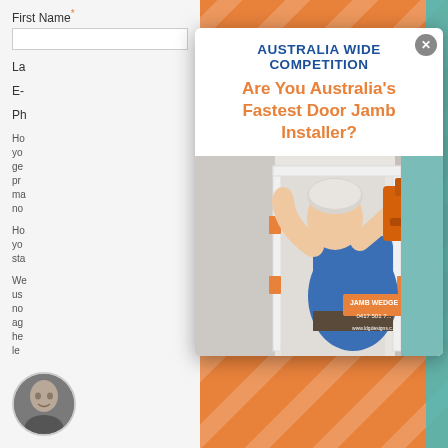First Name *
La
E-
Ph
Ho yo ge pre ma no
Ho yo sta
We us no ag he le
AUSTRALIA WIDE COMPETITION
Are You Australia’s Fastest Door Jamb Installer?
[Figure (photo): Older man with white hair wearing a blue shirt labelled JAMB WEDGE with phone number 0417 501 7... and website www.ldgdesigns.c... installing a door jamb using an orange nail gun, viewed from behind/side.]